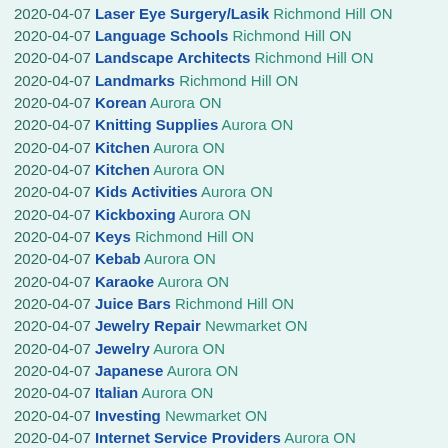2020-04-07 Laser Eye Surgery/Lasik Richmond Hill ON
2020-04-07 Language Schools Richmond Hill ON
2020-04-07 Landscape Architects Richmond Hill ON
2020-04-07 Landmarks Richmond Hill ON
2020-04-07 Korean Aurora ON
2020-04-07 Knitting Supplies Aurora ON
2020-04-07 Kitchen Aurora ON
2020-04-07 Kitchen Aurora ON
2020-04-07 Kids Activities Aurora ON
2020-04-07 Kickboxing Aurora ON
2020-04-07 Keys Richmond Hill ON
2020-04-07 Kebab Aurora ON
2020-04-07 Karaoke Aurora ON
2020-04-07 Juice Bars Richmond Hill ON
2020-04-07 Jewelry Repair Newmarket ON
2020-04-07 Jewelry Aurora ON
2020-04-07 Japanese Aurora ON
2020-04-07 Italian Aurora ON
2020-04-07 Investing Newmarket ON
2020-04-07 Internet Service Providers Aurora ON
2020-04-07 International Aurora ON
2020-04-07 Interior Design Aurora ON